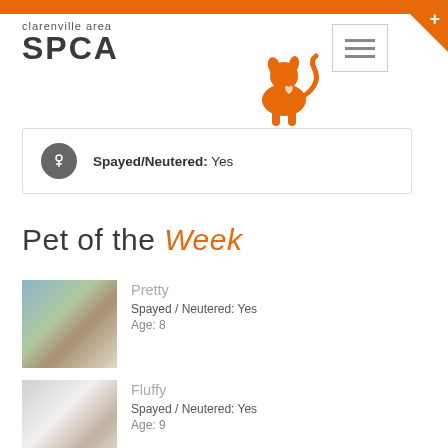[Figure (logo): Clarenville Area SPCA logo with cat and dog silhouette in orange]
Spayed/Neutered: Yes
Pet of the Week
Pretty
Spayed / Neutered: Yes
Age: 8
Fluffy
Spayed / Neutered: Yes
Age: 9
Rocko & Rockette
Spayed / Neutered: Yes
Age: 8